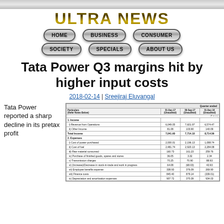ULTRA NEWS
[Figure (other): Navigation bar with buttons: HOME, BUSINESS, CONSUMER, SOCIETY, SPECIALS, ABOUT US]
Tata Power Q3 margins hit by higher input costs
2018-02-14 | Sreejiraj Eluvangal
Tata Power reported a sharp decline in its pretax profit
| Particulars (Refer Notes Below) | 31-Dec-17 (Unaudited) | 30-Sep-17 (Unaudited) | 31-Dec-16 (Unaudited) |
| --- | --- | --- | --- |
| 1. Income |  |  |  |
| i) Revenue from Operations | 6,049.05 | 7,601.97 | 6,574.47 |
| ii) Other Income | 81.08 | 103.90 | 140.09 |
| Total Income | 7,041.60 | 7,714.10 | 8,714.56 |
| 2. Expenses |  |  |  |
| i) Cost of power purchased | 2,000.01 | 2,196.13 | 1,088.74 |
| ii) Cost of fuel | 2,481.74 | 2,920.13 | 2,284.08 |
| iii) Raw material consumed | 160.73 | 161.23 | 259.76 |
| iv) Purchase of finished goods, spares and stores | 36.05 | 3.32 | 2.34 |
| v) Transmission charges | 70.25 | 70.90 | 88.93 |
| vi) (Increase)/Decrease in stock-in-trade and work in progress | 64.08 | (68.03) | 43.93 |
| vii) Employee benefits expense | 338.93 | 376.09 | 269.90 |
| viii) Finance costs | 845.40 | 879.14 | (339.01) |
| ix) Depreciation and amortisation expenses | 907.72 | 370.39 | 934.03 |